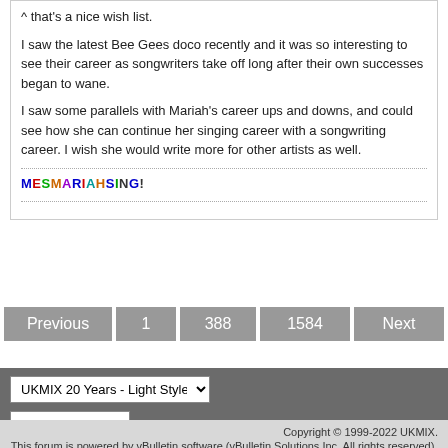^ that's a nice wish list.
I saw the latest Bee Gees doco recently and it was so interesting to see their career as songwriters take off long after their own successes began to wane.
I saw some parallels with Mariah's career ups and downs, and could see how she can continue her singing career with a songwriting career. I wish she would write more for other artists as well.
MESMARIAHSING!
Previous  1  388  1584  Next
UKMIX 20 Years - Light Style
Go to...
Copyright © 1999-2022 UKMIX. This forum is powered by vBulletin software (vBulletin Solutions Inc. All rights reserved). All times are GMT-1. This page was generated at 01:02.